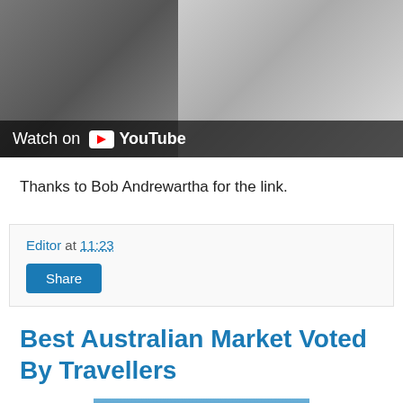[Figure (screenshot): YouTube video thumbnail showing horses with riders, with 'Watch on YouTube' overlay at the bottom]
Thanks to Bob Andrewartha for the link.
Editor at 11:23
Share
Best Australian Market Voted By Travellers
[Figure (photo): Photo of an outdoor market with a blue tent and a sign reading 'FREE RANGE LANE']